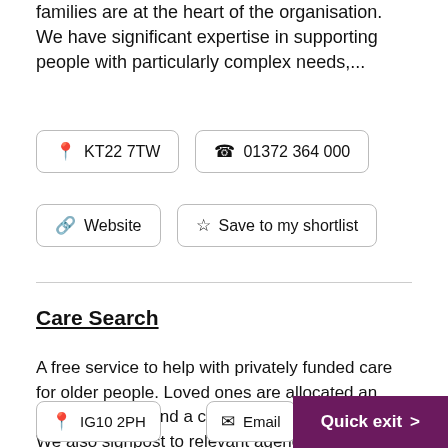families are at the heart of the organisation. We have significant expertise in supporting people with particularly complex needs,...
📍 KT22 7TW
📞 01372 364 000
🔗 Website
☆ Save to my shortlist
Care Search
A free service to help with privately funded care for older people. Loved ones are allocated an adviser to help find a care home or care at home. We also signpost to relevant agencies and charities for useful information such as form filling, financial help...
📍 IG10 2PH
✉ Email